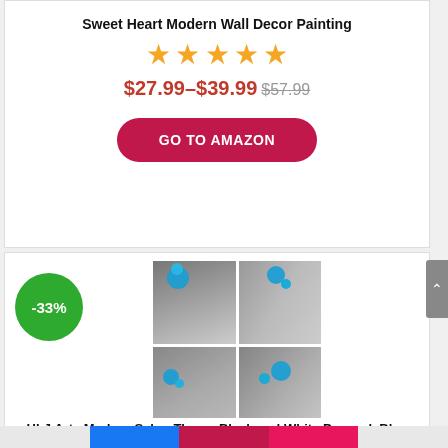Sweet Heart Modern Wall Decor Painting
[Figure (other): Five gold star rating icons]
$27.99–$39.99 $57.99
GO TO AMAZON
[Figure (photo): 2x2 grid of canvas art panels showing blue flowers on black and white background, with -33% discount badge]
HLJ Arts Modern Salon Theme Black and White Peacock Blue Vase Flower Abstract Painting Still Life Canvas Wall Art for Home